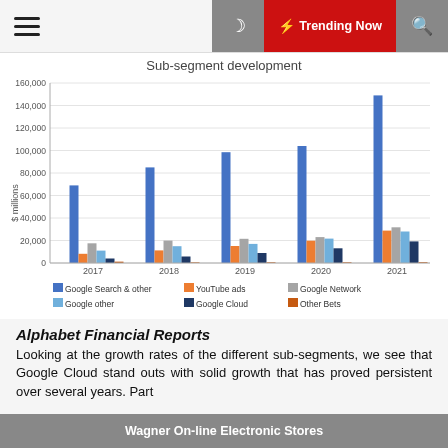≡  🌙  ⚡ Trending Now  🔍
[Figure (grouped-bar-chart): Sub-segment development]
Alphabet Financial Reports
Looking at the growth rates of the different sub-segments, we see that Google Cloud stand outs with solid growth that has proved persistent over several years. Part
Wagner On-line Electronic Stores